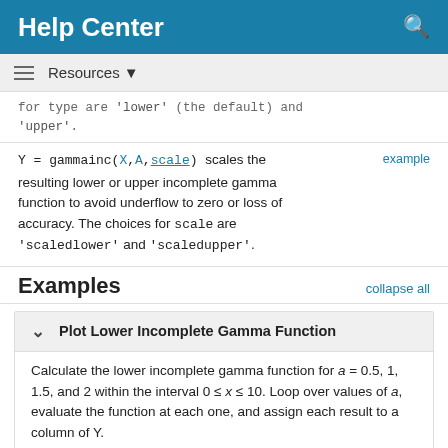Help Center
Resources ▼
for type are 'lower' (the default) and 'upper'.
Y = gammainc(X,A,scale) scales the resulting lower or upper incomplete gamma function to avoid underflow to zero or loss of accuracy. The choices for scale are 'scaledlower' and 'scaledupper'.
Examples
Plot Lower Incomplete Gamma Function
Calculate the lower incomplete gamma function for a = 0.5, 1, 1.5, and 2 within the interval 0 ≤ x ≤ 10. Loop over values of a, evaluate the function at each one, and assign each result to a column of Y.
A = [0.5 1 1.5 2];